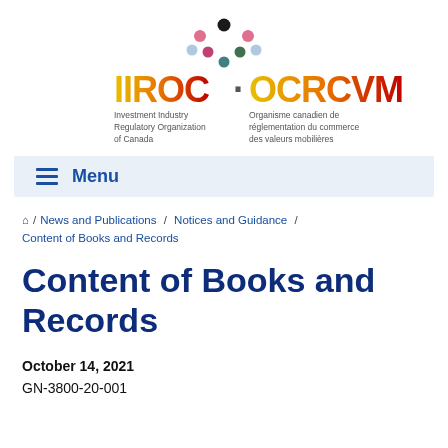[Figure (logo): IIROC / OCRCVM logo with colourful dot motif above the text, and bilingual subtitle text below]
Menu
⌂ / News and Publications / Notices and Guidance / Content of Books and Records
Content of Books and Records
October 14, 2021
GN-3800-20-001